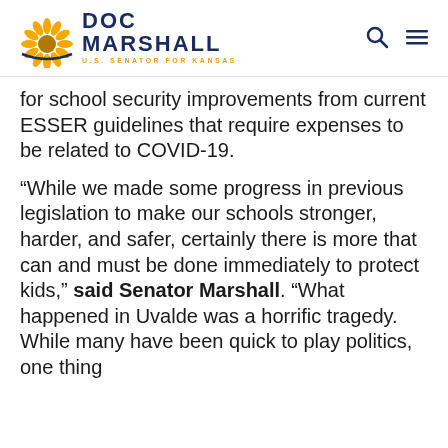DOC MARSHALL — U.S. SENATOR FOR KANSAS
for school security improvements from current ESSER guidelines that require expenses to be related to COVID-19.
“While we made some progress in previous legislation to make our schools stronger, harder, and safer, certainly there is more that can and must be done immediately to protect kids,” said Senator Marshall. “What happened in Uvalde was a horrific tragedy. While many have been quick to play politics, one thing